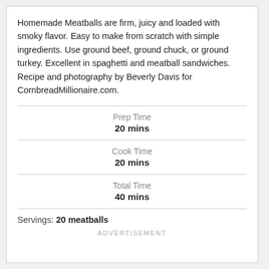Homemade Meatballs are firm, juicy and loaded with smoky flavor. Easy to make from scratch with simple ingredients. Use ground beef, ground chuck, or ground turkey. Excellent in spaghetti and meatball sandwiches. Recipe and photography by Beverly Davis for CornbreadMillionaire.com.
| Prep Time | 20 mins |
| Cook Time | 20 mins |
| Total Time | 40 mins |
Servings: 20 meatballs
ADVERTISEMENT